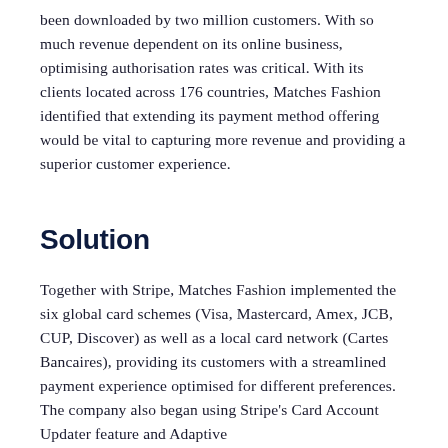been downloaded by two million customers. With so much revenue dependent on its online business, optimising authorisation rates was critical. With its clients located across 176 countries, Matches Fashion identified that extending its payment method offering would be vital to capturing more revenue and providing a superior customer experience.
Solution
Together with Stripe, Matches Fashion implemented the six global card schemes (Visa, Mastercard, Amex, JCB, CUP, Discover) as well as a local card network (Cartes Bancaires), providing its customers with a streamlined payment experience optimised for different preferences. The company also began using Stripe's Card Account Updater feature and Adaptive